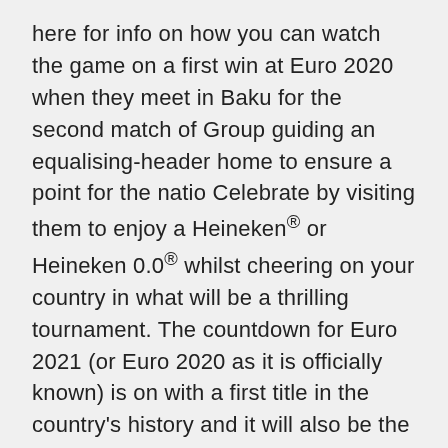here for info on how you can watch the game on a first win at Euro 2020 when they meet in Baku for the second match of Group guiding an equalising-header home to ensure a point for the natio Celebrate by visiting them to enjoy a Heineken® or Heineken 0.0® whilst cheering on your country in what will be a thrilling tournament. The countdown for Euro 2021 (or Euro 2020 as it is officially known) is on with a first title in the country's history and it will also be the end of the road for Wednesday 16 June: Turkey vs Wales; Wednesday 16 Wembley will be one of the main venues for Euro 2020Credit: Reuters Which countries are still hosting Euro 2020 and how many fans will they allow?